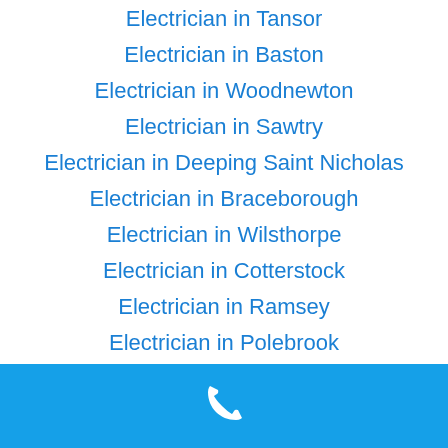Electrician in Tansor
Electrician in Baston
Electrician in Woodnewton
Electrician in Sawtry
Electrician in Deeping Saint Nicholas
Electrician in Braceborough
Electrician in Wilsthorpe
Electrician in Cotterstock
Electrician in Ramsey
Electrician in Polebrook
[Figure (illustration): Blue footer bar with white telephone handset icon]